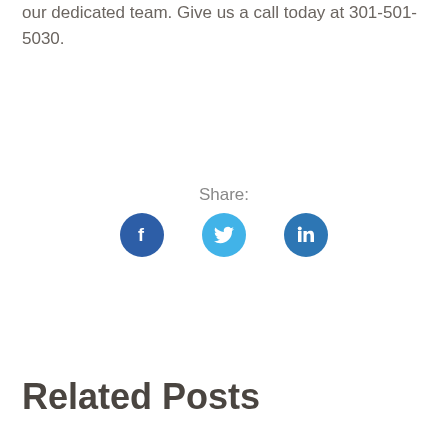our dedicated team. Give us a call today at 301-501-5030.
Share:
[Figure (infographic): Three social media share buttons: Facebook (dark blue circle with 'f' icon), Twitter (light blue circle with bird icon), LinkedIn (medium blue circle with 'in' icon)]
Related Posts